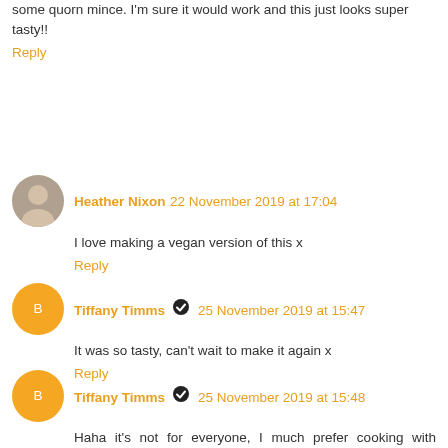some quorn mince. I'm sure it would work and this just looks super tasty!!
Reply
Heather Nixon  22 November 2019 at 17:04
I love making a vegan version of this x
Reply
Tiffany Timms  25 November 2019 at 15:47
It was so tasty, can't wait to make it again x
Reply
Tiffany Timms  25 November 2019 at 15:48
Haha it's not for everyone, I much prefer cooking with chicken now actually and only tend to turn to mince for a few meals. Love the range of these mixes though so everyone can try something! x